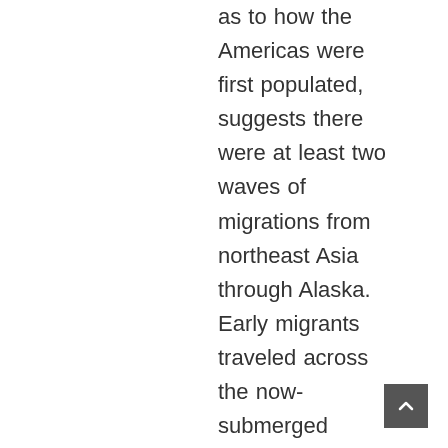as to how the Americas were first populated, suggests there were at least two waves of migrations from northeast Asia through Alaska. Early migrants traveled across the now-submerged landmass of Beringia. When they first crossed Beringia these trekkers met a wall of ice blocking entry into northwestern Canada. Therefore, from Beringia the first pathfinders may have entered North America along the Pacific Coast, possibly as early as 25,000 years ago. To do so, they would have needed to move quickly and precisely on rudimentary watercraft, following the coastline southeast from Alaska's